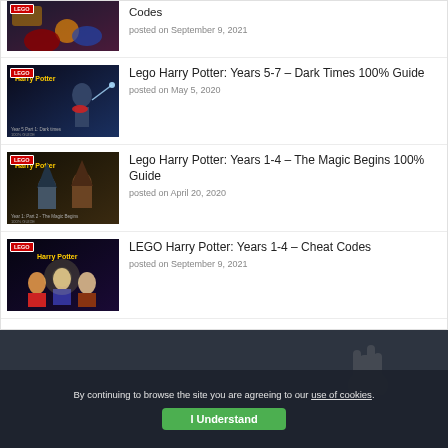Lego Harry Potter: Years 5-7 – Dark Times 100% Guide
posted on May 5, 2020
Lego Harry Potter: Years 1-4 – The Magic Begins 100% Guide
posted on April 20, 2020
LEGO Harry Potter: Years 1-4 – Cheat Codes
posted on September 9, 2021
By continuing to browse the site you are agreeing to our use of cookies. I Understand